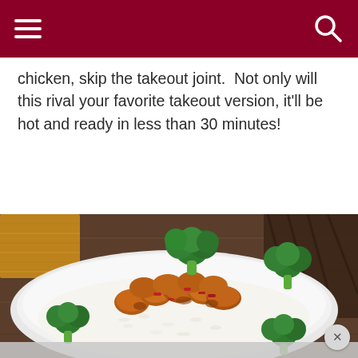[navigation header with menu and search icons]
chicken, skip the takeout joint.  Not only will this rival your favorite takeout version, it'll be hot and ready in less than 30 minutes!
[Figure (photo): A white plate with General Tso's chicken (crispy fried chicken pieces coated in a sweet and spicy brown sauce with red chili peppers) served over white rice, garnished with fresh broccoli florets. The plate sits on a dark wooden surface with a yellow fabric napkin visible in the background.]